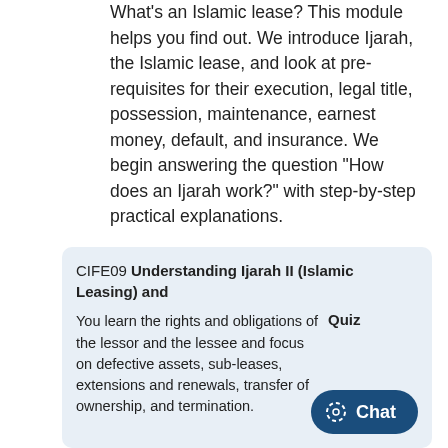What's an Islamic lease? This module helps you find out. We introduce Ijarah, the Islamic lease, and look at pre-requisites for their execution, legal title, possession, maintenance, earnest money, default, and insurance. We begin answering the question "How does an Ijarah work?" with step-by-step practical explanations.
CIFE09 Understanding Ijarah II (Islamic Leasing) and
You learn the rights and obligations of the lessor and the lessee and focus on defective assets, sub-leases, extensions and renewals, transfer of ownership, and termination.
Quiz